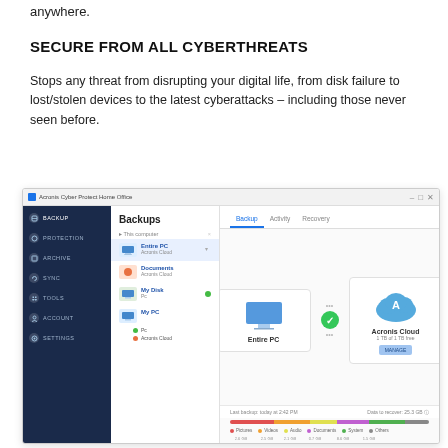anywhere.
SECURE FROM ALL CYBERTHREATS
Stops any threat from disrupting your digital life, from disk failure to lost/stolen devices to the latest cyberattacks – including those never seen before.
[Figure (screenshot): Acronis Cyber Protect Home Office application screenshot showing the Backups panel with sidebar navigation (BACKUP, PROTECTION, ARCHIVE, SYNC, TOOLS, ACCOUNT, SETTINGS), a list of backup items (Entire PC to Acronis Cloud, Documents to Acronis Cloud, My Disk to PC, My PC), and the backup detail view showing Entire PC connected to Acronis Cloud with a green checkmark. Status bar shows last backup today at 2:42 PM and data breakdown by category (Pictures, Videos, Audio, Documents, System, Others).]